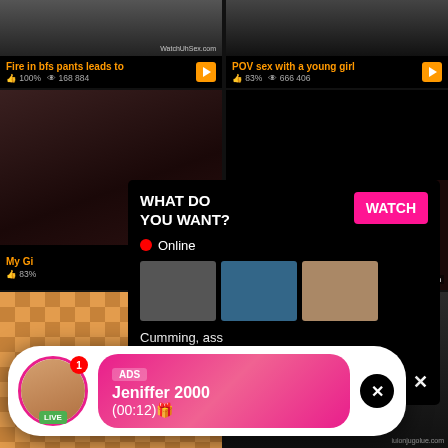[Figure (screenshot): Adult video thumbnail top-left with watermark WatchUhSex.com]
[Figure (screenshot): Adult video thumbnail top-right]
Fire in bfs pants leads to
👍 100%  👁 168 884
POV sex with a young girl
👍 83%  👁 666 406
[Figure (screenshot): Adult video thumbnail middle-left]
[Figure (screenshot): Adult video thumbnail middle-right top black]
[Figure (screenshot): Adult video thumbnail middle-right bottom]
[Figure (screenshot): Popup ad overlay with WHAT DO YOU WANT? text and WATCH button, Online status, three mini thumbnails, text: Cumming, ass fucking, squirt or... with ADS label and close X]
My Gi
👍 83%
[Figure (screenshot): Bottom left adult video thumbnail with orange/red checkered floor]
[Figure (screenshot): Bottom right adult video thumbnail dark]
[Figure (screenshot): Notification toast: ADS Jeniffer 2000 (00:12) with live avatar, green LIVE badge, pink gradient background, black X close button]